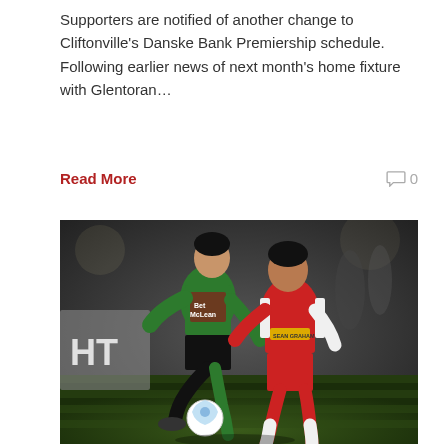Supporters are notified of another change to Cliftonville’s Danske Bank Premiership schedule. Following earlier news of next month’s home fixture with Glentoran…
Read More
[Figure (photo): Two football players competing for the ball. Left player wears green jersey with 'Bet McLean' sponsor, right player wears red jersey with 'Sean Graham' sponsor. A white ball is visible near the ground.]